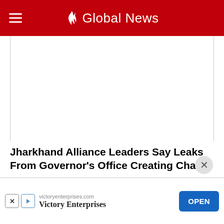🔥 Global News
[Figure (other): White empty content area with left and right vertical borders, representing a video or image embed placeholder]
Jharkhand Alliance Leaders Say Leaks From Governor's Office Creating Chaos
Jharkhand Alliance Leaders Say Leaks From Governor's Office Creating Chaos  NDTVJharkhand Political Crisis | Jharkhand News | Hemant Soren |CM Calls Key Cabinet Meet Today| News18  CNN News18Jharkhand ruling alliance leaders meet...
victoryenterprises.com
Victory Enterprises
OPEN